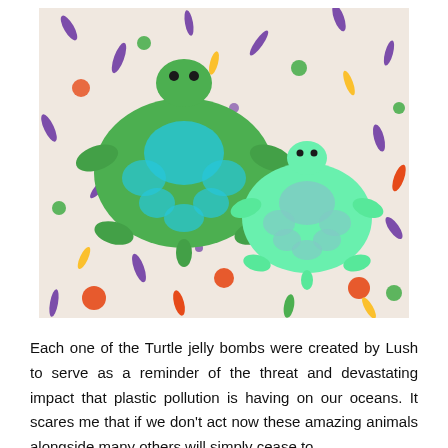[Figure (photo): Two green turtle-shaped Lush jelly bombs (bath products) resting on a colorful patterned fabric background with multicolored dots, dashes and shapes in purple, orange, green, yellow, and other colors.]
Each one of the Turtle jelly bombs were created by Lush to serve as a reminder of the threat and devastating impact that plastic pollution is having on our oceans. It scares me that if we don't act now these amazing animals alongside many others will simply cease to